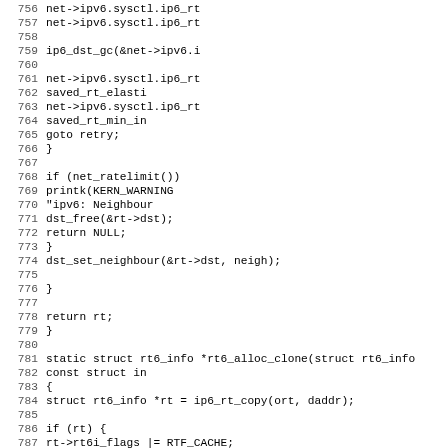Source code listing, lines 756-787, C kernel networking code (IPv6 route allocation)